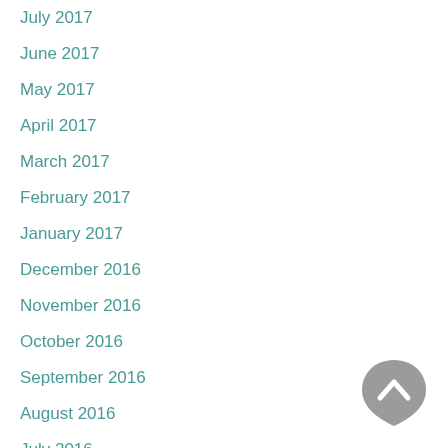July 2017
June 2017
May 2017
April 2017
March 2017
February 2017
January 2017
December 2016
November 2016
October 2016
September 2016
August 2016
July 2016
June 2016
May 2016
[Figure (illustration): Gray teardrop/shield shaped back-to-top button with upward chevron arrow icon]